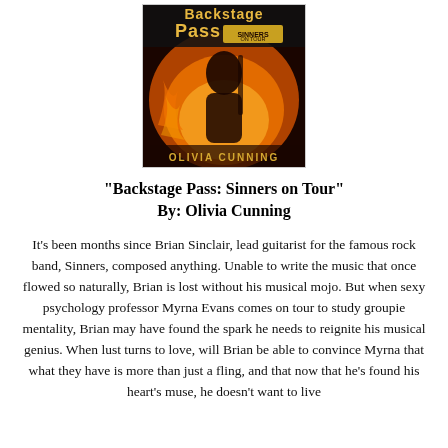[Figure (photo): Book cover of 'Backstage Pass: Sinners on Tour' by Olivia Cunning, featuring warm orange and red tones with a dark silhouette figure and the author's name at the bottom in gold letters.]
"Backstage Pass: Sinners on Tour"
By: Olivia Cunning
It's been months since Brian Sinclair, lead guitarist for the famous rock band, Sinners, composed anything. Unable to write the music that once flowed so naturally, Brian is lost without his musical mojo. But when sexy psychology professor Myrna Evans comes on tour to study groupie mentality, Brian may have found the spark he needs to reignite his musical genius. When lust turns to love, will Brian be able to convince Myrna that what they have is more than just a fling, and that now that he's found his heart's muse, he doesn't want to live